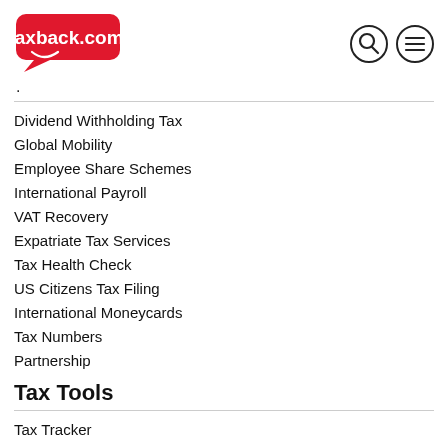taxback.com
Dividend Withholding Tax
Global Mobility
Employee Share Schemes
International Payroll
VAT Recovery
Expatriate Tax Services
Tax Health Check
US Citizens Tax Filing
International Moneycards
Tax Numbers
Partnership
Tax Tools
Tax Tracker
Tax Packs
Tell A Friend
Tax Calculators